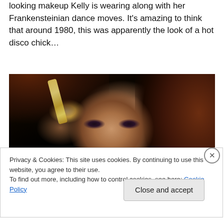looking makeup Kelly is wearing along with her Frankensteinian dance moves. It's amazing to think that around 1980, this was apparently the look of a hot disco chick…
[Figure (photo): Close-up photo of a woman with heavy dark eye makeup and gold glitter streak in her reddish-brown hair, styled in a late-1970s/early-1980s disco fashion look.]
Privacy & Cookies: This site uses cookies. By continuing to use this website, you agree to their use.
To find out more, including how to control cookies, see here: Cookie Policy